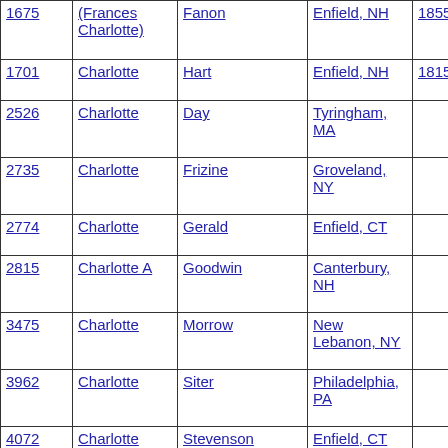| ID | First Name | Last Name | Location | Year |
| --- | --- | --- | --- | --- |
| 1675 | (Frances Charlotte) | Fanon | Enfield, NH | 1855 |
| 1701 | Charlotte | Hart | Enfield, NH | 1815 |
| 2526 | Charlotte | Day | Tyringham, MA |  |
| 2735 | Charlotte | Frizine | Groveland, NY |  |
| 2774 | Charlotte | Gerald | Enfield, CT |  |
| 2815 | Charlotte A | Goodwin | Canterbury, NH |  |
| 3475 | Charlotte | Morrow | New Lebanon, NY |  |
| 3962 | Charlotte | Siter | Philadelphia, PA |  |
| 4072 | Charlotte | Stevenson | Enfield, CT |  |
| 4207 | Charlotte | Tremper | New Lebanon, NY |  |
| 4334 | Charlotte | Wells | Alfred, ME |  |
| 4481 | Charlotte | Worden | Hancock, MA |  |